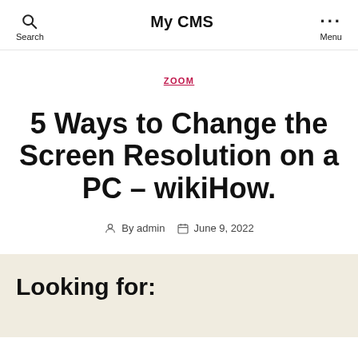My CMS
ZOOM
5 Ways to Change the Screen Resolution on a PC – wikiHow.
By admin   June 9, 2022
Looking for: